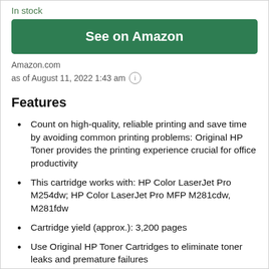In stock
See on Amazon
Amazon.com
as of August 11, 2022 1:43 am ⓘ
Features
Count on high-quality, reliable printing and save time by avoiding common printing problems: Original HP Toner provides the printing experience crucial for office productivity
This cartridge works with: HP Color LaserJet Pro M254dw; HP Color LaserJet Pro MFP M281cdw, M281fdw
Cartridge yield (approx.): 3,200 pages
Use Original HP Toner Cartridges to eliminate toner leaks and premature failures